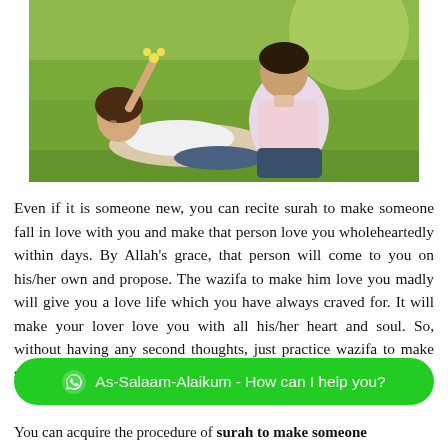[Figure (photo): A couple sitting in a grassy outdoor setting. A woman is lying back smiling, holding up a flower, while a man leans toward her.]
Even if it is someone new, you can recite surah to make someone fall in love with you and make that person love you wholeheartedly within days. By Allah's grace, that person will come to you on his/her own and propose. The wazifa to make him love you madly will give you a love life which you have always craved for. It will make your lover love you with all his/her heart and soul. So, without having any second thoughts, just practice wazifa to make someone crazy in love
As-Salaam-Alaikum - How can I help you?
You can acquire the procedure of surah to make someone